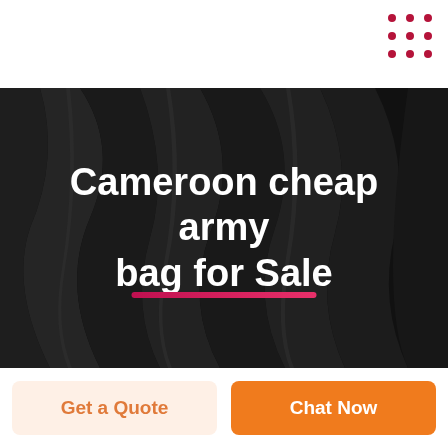[Figure (illustration): Red dot grid pattern in top-right corner of white header area]
[Figure (photo): Dark hero banner with dark black/charcoal folded fabric or wavy dark background texture]
Cameroon cheap army bag for Sale
Get a Quote
Chat Now